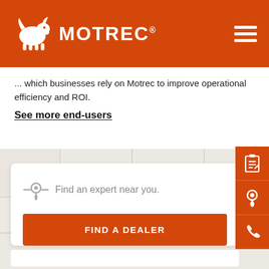MOTREC
... which businesses rely on Motrec to improve operational efficiency and ROI.
See more end-users
[Figure (screenshot): Map background for dealer finder section]
Find an expert near you.
FIND A DEALER
[Figure (infographic): Orange sidebar with clipboard, location pin, and phone icons]